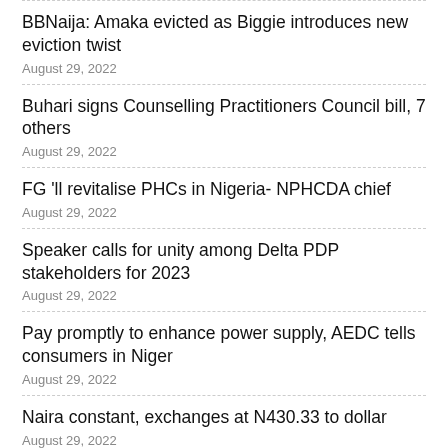BBNaija: Amaka evicted as Biggie introduces new eviction twist
August 29, 2022
Buhari signs Counselling Practitioners Council bill, 7 others
August 29, 2022
FG 'll revitalise PHCs in Nigeria- NPHCDA chief
August 29, 2022
Speaker calls for unity among Delta PDP stakeholders for 2023
August 29, 2022
Pay promptly to enhance power supply, AEDC tells consumers in Niger
August 29, 2022
Naira constant, exchanges at N430.33 to dollar
August 29, 2022